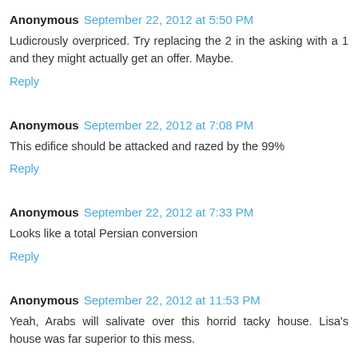Anonymous September 22, 2012 at 5:50 PM
Ludicrously overpriced. Try replacing the 2 in the asking with a 1 and they might actually get an offer. Maybe.
Reply
Anonymous September 22, 2012 at 7:08 PM
This edifice should be attacked and razed by the 99%
Reply
Anonymous September 22, 2012 at 7:33 PM
Looks like a total Persian conversion
Reply
Anonymous September 22, 2012 at 11:53 PM
Yeah, Arabs will salivate over this horrid tacky house. Lisa's house was far superior to this mess.